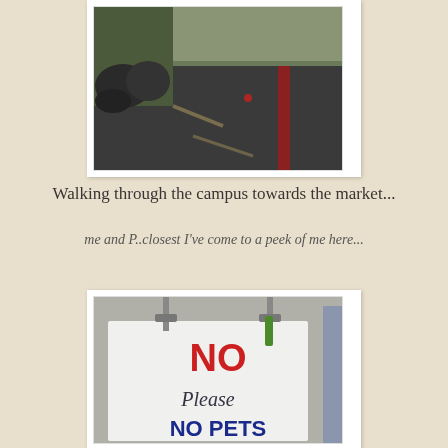[Figure (photo): Outdoor photo of a campus pathway with dark asphalt, red curb on the right, and green vegetation/garbage bags on the left]
Walking through the campus towards the market...
me and P..closest I've come to a peek of me here...
[Figure (photo): Photo of a sign hanging from poles that reads 'Please NO PETS' in red and blue lettering]